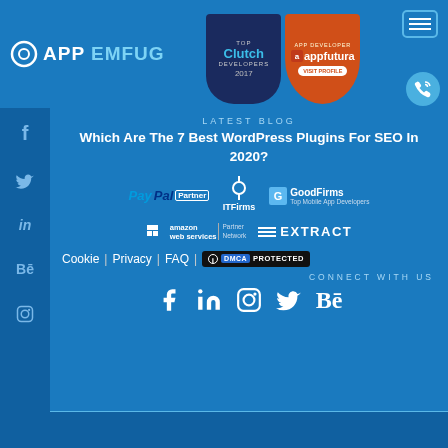[Figure (logo): App company logo with circle icon and text]
[Figure (logo): Clutch Top Developers 2017 badge]
[Figure (logo): AppFutura App Developer badge with Visit Profile button]
[Figure (logo): Hamburger menu button icon]
[Figure (logo): Phone call icon]
[Figure (logo): Social media sidebar icons: Facebook, Twitter, LinkedIn, Behance, Instagram]
LATEST BLOG
Which Are The 7 Best WordPress Plugins For SEO In 2020?
[Figure (logo): PayPal Partner logo]
[Figure (logo): ITFirms logo]
[Figure (logo): GoodFirms Top Mobile App Developers logo]
[Figure (logo): Amazon Web Services Partner Network logo]
[Figure (logo): Extract logo]
Cookie | Privacy | FAQ |
[Figure (logo): DMCA Protected badge]
CONNECT WITH US
[Figure (logo): Social media icons: Facebook, LinkedIn, Instagram, Twitter, Behance]